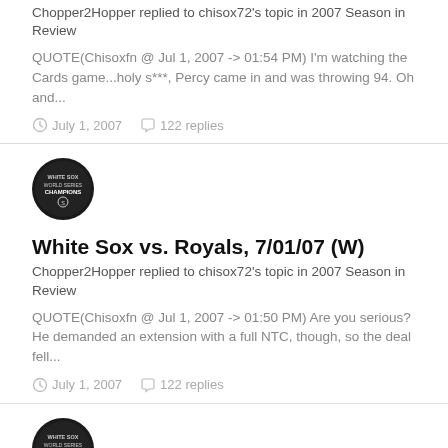Chopper2Hopper replied to chisox72's topic in 2007 Season in Review
QUOTE(Chisoxfn @ Jul 1, 2007 -> 01:54 PM) I'm watching the Cards game...holy s***, Percy came in and was throwing 94. Oh and...
July 1, 2007   122 replies
[Figure (logo): White Sox World Series Champions circular badge logo, black background]
White Sox vs. Royals, 7/01/07 (W)
Chopper2Hopper replied to chisox72's topic in 2007 Season in Review
QUOTE(Chisoxfn @ Jul 1, 2007 -> 01:50 PM) Are you serious? He demanded an extension with a full NTC, though, so the deal fell...
July 1, 2007   122 replies
[Figure (logo): White Sox World Series Champions circular badge logo, black background]
White Sox vs. Royals, 7/01/07 (W)